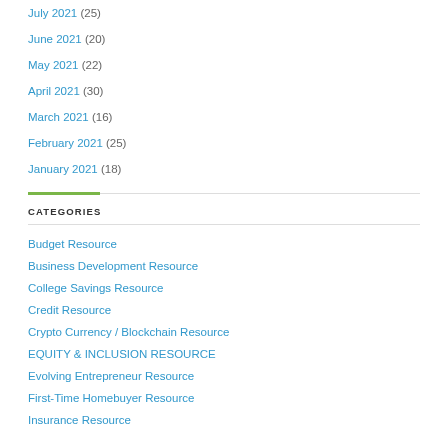July 2021 (25)
June 2021 (20)
May 2021 (22)
April 2021 (30)
March 2021 (16)
February 2021 (25)
January 2021 (18)
CATEGORIES
Budget Resource
Business Development Resource
College Savings Resource
Credit Resource
Crypto Currency / Blockchain Resource
EQUITY & INCLUSION RESOURCE
Evolving Entrepreneur Resource
First-Time Homebuyer Resource
Insurance Resource